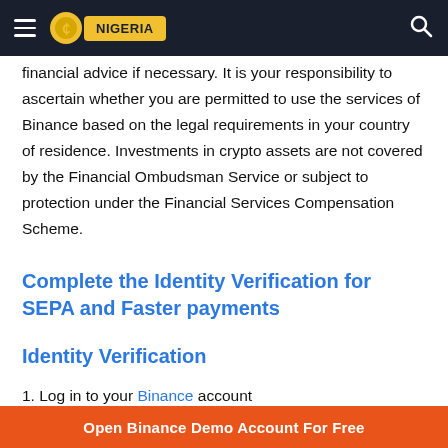NIGERIA
financial advice if necessary. It is your responsibility to ascertain whether you are permitted to use the services of Binance based on the legal requirements in your country of residence. Investments in crypto assets are not covered by the Financial Ombudsman Service or subject to protection under the Financial Services Compensation Scheme.
Complete the Identity Verification for SEPA and Faster payments
Identity Verification
1. Log in to your Binance account
Open Binance Demo Account For Free